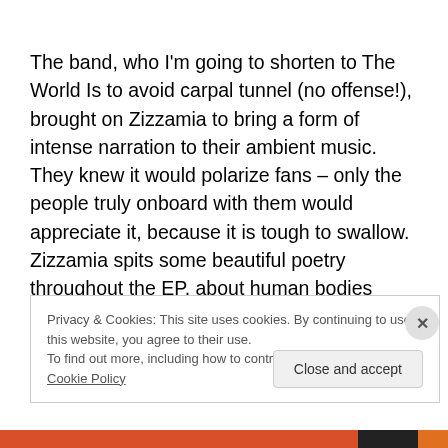The band, who I'm going to shorten to The World Is to avoid carpal tunnel (no offense!), brought on Zizzamia to bring a form of intense narration to their ambient music. They knew it would polarize fans – only the people truly onboard with them would appreciate it, because it is tough to swallow. Zizzamia spits some beautiful poetry throughout the EP, about human bodies making up stars, intertwining, and facing invincibility, all capping off with the
Privacy & Cookies: This site uses cookies. By continuing to use this website, you agree to their use.
To find out more, including how to control cookies, see here: Cookie Policy
Close and accept